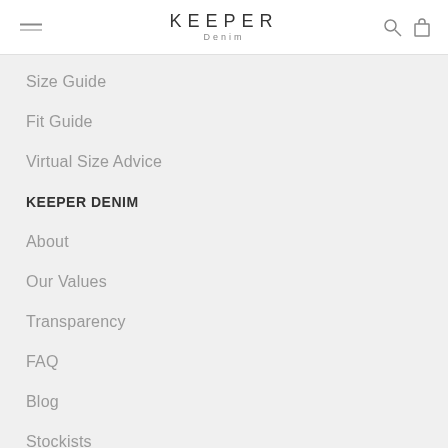KEEPER Denim
Size Guide
Fit Guide
Virtual Size Advice
KEEPER DENIM
About
Our Values
Transparency
FAQ
Blog
Stockists